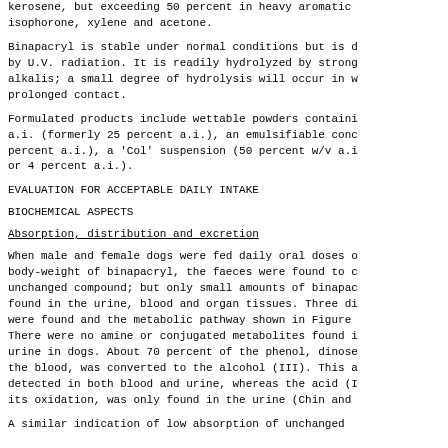kerosene, but exceeding 50 percent in heavy aromatic isophorone, xylene and acetone.
Binapacryl is stable under normal conditions but is decomposed by U.V. radiation. It is readily hydrolyzed by strong alkalis; a small degree of hydrolysis will occur in water on prolonged contact.
Formulated products include wettable powders containing a.i. (formerly 25 percent a.i.), an emulsifiable concentrate percent a.i.), a 'Col' suspension (50 percent w/v a.i. or 4 percent a.i.).
EVALUATION FOR ACCEPTABLE DAILY INTAKE
BIOCHEMICAL ASPECTS
Absorption, distribution and excretion
When male and female dogs were fed daily oral doses of body-weight of binapacryl, the faeces were found to contain unchanged compound; but only small amounts of binapacryl were found in the urine, blood and organ tissues. Three diols were found and the metabolic pathway shown in Figure 1. There were no amine or conjugated metabolites found in the urine in dogs. About 70 percent of the phenol, dinoseb, in the blood, was converted to the alcohol (III). This alcohol detected in both blood and urine, whereas the acid (IV) from its oxidation, was only found in the urine (Chin and
A similar indication of low absorption of unchanged